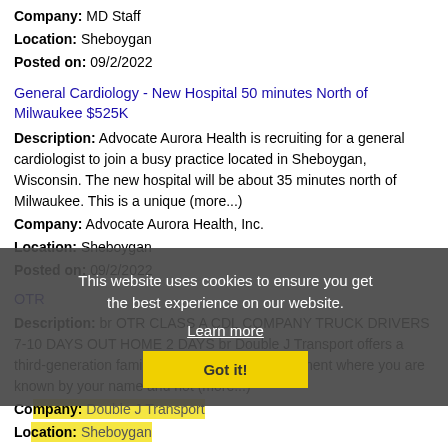Company: MD Staff
Location: Sheboygan
Posted on: 09/2/2022
General Cardiology - New Hospital 50 minutes North of Milwaukee $525K
Description: Advocate Aurora Health is recruiting for a general cardiologist to join a busy practice located in Sheboygan, Wisconsin. The new hospital will be about 35 minutes north of Milwaukee. This is a unique (more...)
Company: Advocate Aurora Health, Inc.
Location: Sheboygan
Posted on: 09/2/2022
OTR...
Description: br OTR CLASS A CDL COMPANY TRUCK DRIVERS 7-10 DAYS OUT HOME 2 DAYS br Double J Transport offers a third-generation family-owned trucking environment where you are known by your name and not (more...)
Company: Double J Transport
Location: Sheboygan
Posted on: 09/2/2022
This website uses cookies to ensure you get the best experience on our website.
Learn more
Got it!
Salary in Madison, Wisconsin Area | More details for